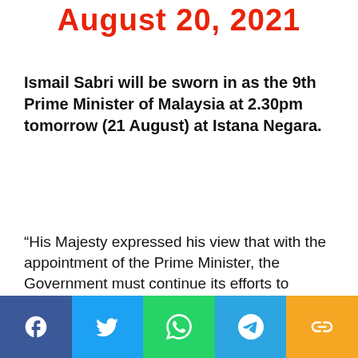August 20, 2021
Ismail Sabri will be sworn in as the 9th Prime Minister of Malaysia at 2.30pm tomorrow (21 August) at Istana Negara.
“His Majesty expressed his view that with the appointment of the Prime Minister, the Government must continue its efforts to combat the Covid-19 pandemic immediately for the benefit and security of the people and the well-being of the country which is greatly affected by
[Figure (infographic): Social media sharing bar at the bottom with Facebook (blue), Twitter (light blue), WhatsApp (green), Telegram (blue), and a link/copy icon (yellow/orange) buttons.]